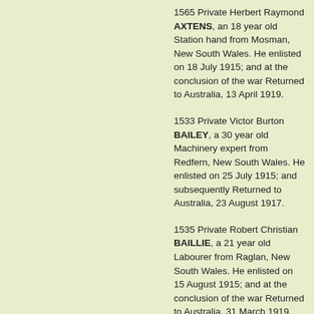1565 Private Herbert Raymond AXTENS, an 18 year old Station hand from Mosman, New South Wales. He enlisted on 18 July 1915; and at the conclusion of the war Returned to Australia, 13 April 1919.
1533 Private Victor Burton BAILEY, a 30 year old Machinery expert from Redfern, New South Wales. He enlisted on 25 July 1915; and subsequently Returned to Australia, 23 August 1917.
1535 Private Robert Christian BAILLIE, a 21 year old Labourer from Raglan, New South Wales. He enlisted on 15 August 1915; and at the conclusion of the war Returned to Australia, 31 March 1919.
Second Lieutenant Joseph Percival BARR, a 31 year old Public Accountant from